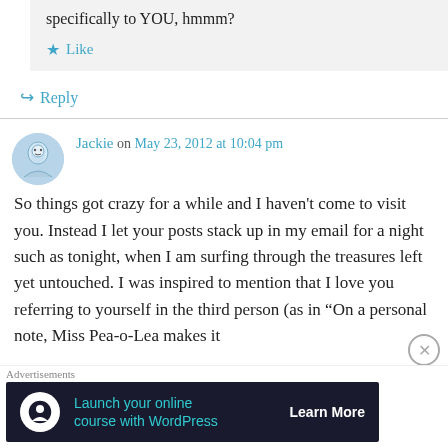specifically to YOU, hmmm?
Like
Reply
Jackie on May 23, 2012 at 10:04 pm
So things got crazy for a while and I haven't come to visit you. Instead I let your posts stack up in my email for a night such as tonight, when I am surfing through the treasures left yet untouched. I was inspired to mention that I love you referring to yourself in the third person (as in "On a personal note, Miss Pea-o-Lea makes it
Advertisements
Launch your online course with WordPress  Learn More